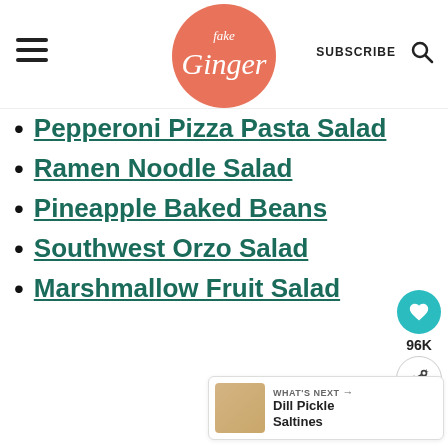Fake Ginger — SUBSCRIBE
Pepperoni Pizza Pasta Salad
Ramen Noodle Salad
Pineapple Baked Beans
Southwest Orzo Salad
Marshmallow Fruit Salad
[Figure (other): Heart/like button showing 96K likes and a share button on the right side of the page]
WHAT'S NEXT → Dill Pickle Saltines